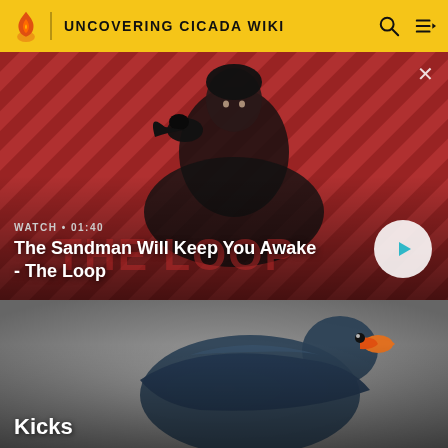UNCOVERING CICADA WIKI
[Figure (screenshot): Video thumbnail showing a dark-cloaked figure with a raven against a red and black diagonal striped background. Overlay text: WATCH • 01:40, The Sandman Will Keep You Awake - The Loop. Play button on right.]
The Sandman Will Keep You Awake - The Loop
[Figure (photo): Partial image of a duck-like bird with orange beak on a gray background, with text 'Kicks' at bottom]